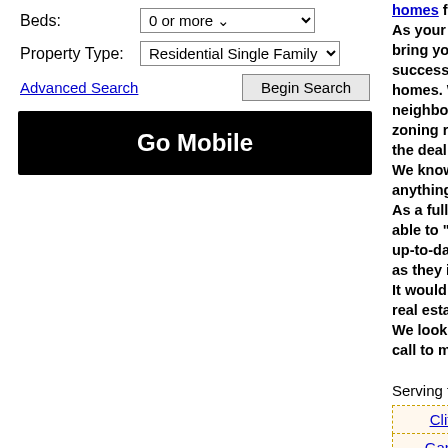Beds: 0 or more
Property Type: Residential Single Family
Advanced Search | Begin Search
Go Mobile
homes for sale! As your real estate bring you years of successfully buying homes. We know th neighborhoods, sc zoning regulations the deal go through We know it takes a anything less and y As a full-service rea able to "work the m up-to-date with new as they impact the It would be our plea real estate advisor We look forward to call to meet with us
Serving the following
| Clifton | Elmw |
| Garfield | Hac |
| Maywood | Pa |